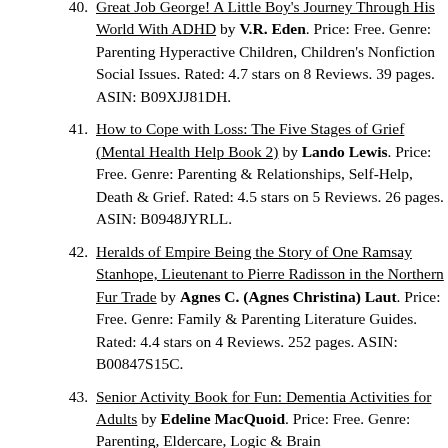Great Job George! A Little Boy's Journey Through His World With ADHD by V.R. Eden. Price: Free. Genre: Parenting Hyperactive Children, Children's Nonfiction Social Issues. Rated: 4.7 stars on 8 Reviews. 39 pages. ASIN: B09XJJ81DH.
How to Cope with Loss: The Five Stages of Grief (Mental Health Help Book 2) by Lando Lewis. Price: Free. Genre: Parenting & Relationships, Self-Help, Death & Grief. Rated: 4.5 stars on 5 Reviews. 26 pages. ASIN: B0948JYRLL.
Heralds of Empire Being the Story of One Ramsay Stanhope, Lieutenant to Pierre Radisson in the Northern Fur Trade by Agnes C. (Agnes Christina) Laut. Price: Free. Genre: Family & Parenting Literature Guides. Rated: 4.4 stars on 4 Reviews. 252 pages. ASIN: B00847S15C.
Senior Activity Book for Fun: Dementia Activities for Adults by Edeline MacQuoid. Price: Free. Genre: Parenting, Eldercare, Logic & Brain Games. Rated: 4.3 stars on 197...